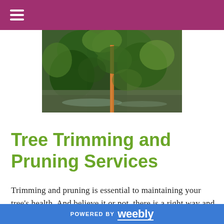☰ (navigation menu icon)
[Figure (photo): Outdoor photograph showing trees with ivy and dense green foliage, with a vertical orange/brown pole visible in the center]
Tree Trimming and Pruning Services
Trimming and pruning is essential to maintaining your tree's health. And believe it or not, there is a right way and wrong
POWERED BY weebly